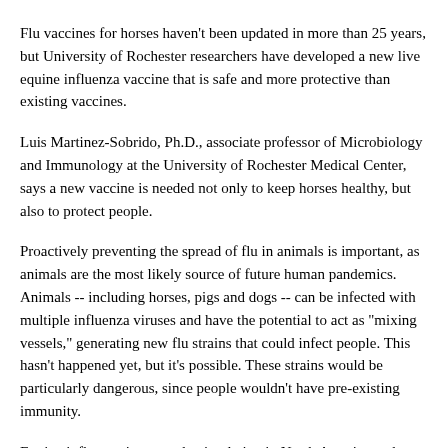Flu vaccines for horses haven't been updated in more than 25 years, but University of Rochester researchers have developed a new live equine influenza vaccine that is safe and more protective than existing vaccines.
Luis Martinez-Sobrido, Ph.D., associate professor of Microbiology and Immunology at the University of Rochester Medical Center, says a new vaccine is needed not only to keep horses healthy, but also to protect people.
Proactively preventing the spread of flu in animals is important, as animals are the most likely source of future human pandemics. Animals -- including horses, pigs and dogs -- can be infected with multiple influenza viruses and have the potential to act as "mixing vessels," generating new flu strains that could infect people. This hasn't happened yet, but it's possible. These strains would be particularly dangerous, since people wouldn't have pre-existing immunity.
Equine influenza is currently circulating in North America and Europe and is highly contagious. Horses often travel long distances for equestrian events and breeding purposes, and if an infected horse is introduced into a susceptible, unvaccinated population, the spread of the virus can be fast and